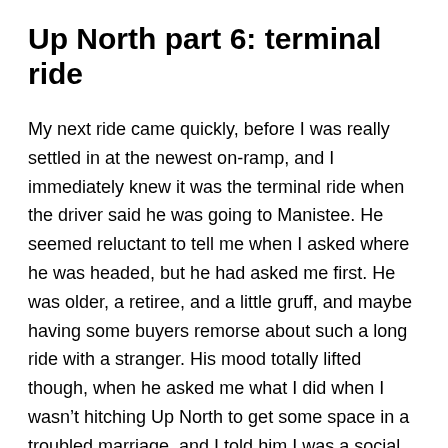Up North part 6: terminal ride
My next ride came quickly, before I was really settled in at the newest on-ramp, and I immediately knew it was the terminal ride when the driver said he was going to Manistee. He seemed reluctant to tell me when I asked where he was headed, but he had asked me first. He was older, a retiree, and a little gruff, and maybe having some buyers remorse about such a long ride with a stranger. His mood totally lifted though, when he asked me what I did when I wasn't hitching Up North to get some space in a troubled marriage, and I told him I was a social worker by trade but between jobs right now. I told him about my last job in case management with adults and children with developmental disabilities and a job I had applied for